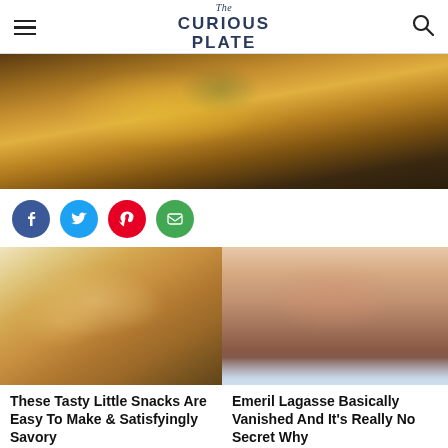The Curious Plate
[Figure (photo): Close-up photo of a cheeseburger with melted yellow cheese and green jalapeño on a toasted bun, on a white plate, dark background]
[Figure (infographic): Social sharing buttons: Facebook (blue), Twitter (cyan), Pinterest (red), Email (green)]
[Figure (photo): Photo of golden baked cheddar biscuit snack balls in a white bowl]
[Figure (photo): Photo of celebrity chef Emeril Lagasse, close-up face portrait]
These Tasty Little Snacks Are Easy To Make & Satisfyingly Savory
Emeril Lagasse Basically Vanished And It's Really No Secret Why